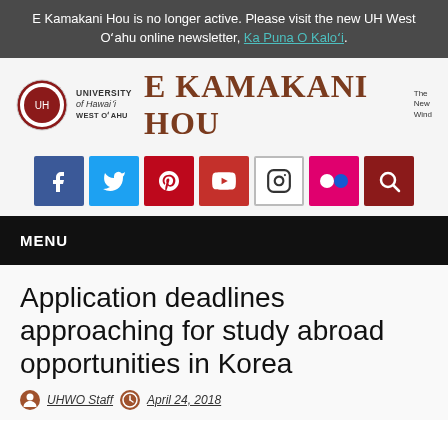E Kamakani Hou is no longer active. Please visit the new UH West O‘ahu online newsletter, Ka Puna O Kalo‘i.
[Figure (logo): University of Hawai'i West O'ahu logo with E Kamakani Hou newsletter title and social media icons (Facebook, Twitter, Pinterest, YouTube, Instagram, Flickr, Search)]
MENU
Application deadlines approaching for study abroad opportunities in Korea
UHWO Staff   April 24, 2018